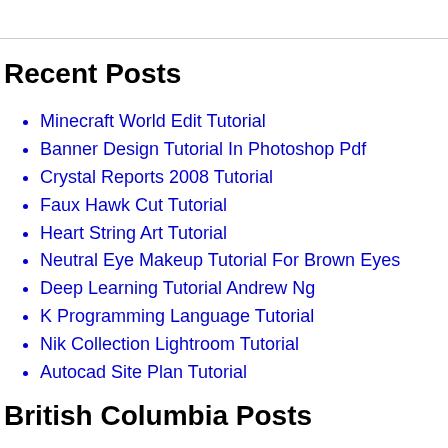Recent Posts
Minecraft World Edit Tutorial
Banner Design Tutorial In Photoshop Pdf
Crystal Reports 2008 Tutorial
Faux Hawk Cut Tutorial
Heart String Art Tutorial
Neutral Eye Makeup Tutorial For Brown Eyes
Deep Learning Tutorial Andrew Ng
K Programming Language Tutorial
Nik Collection Lightroom Tutorial
Autocad Site Plan Tutorial
British Columbia Posts